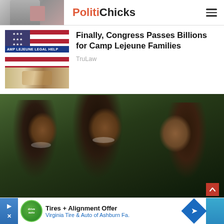PolitiChicks
[Figure (photo): Thumbnail image of a person, partially visible, top-left corner]
Finally, Congress Passes Billions for Camp Lejeune Families
TruLaw
[Figure (photo): Thumbnail image of a handshake in front of an American flag with text overlay reading 'AMP LEJEUNE LEGAL HELP']
[Figure (photo): Photo of three people (two women and a man) smiling outdoors, resembling the Obama family]
[Figure (other): Advertisement banner: Tires + Alignment Offer, Virginia Tire & Auto of Ashburn Fa.]